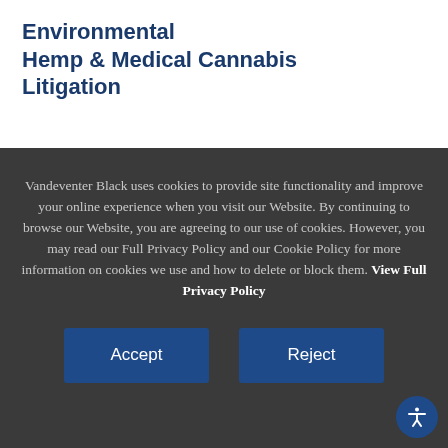Environmental
Hemp & Medical Cannabis
Litigation
Vandeventer Black uses cookies to provide site functionality and improve your online experience when you visit our Website. By continuing to browse our Website, you are agreeing to our use of cookies. However, you may read our Full Privacy Policy and our Cookie Policy for more information on cookies we use and how to delete or block them. View Full Privacy Policy
Accept
Reject